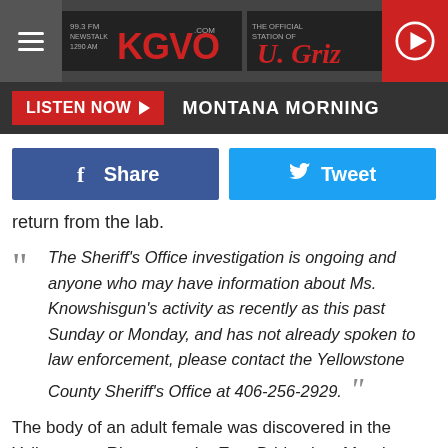[Figure (logo): KGVO radio station header with logo, hamburger menu, and play button]
LISTEN NOW  MONTANA MORNING
[Figure (infographic): Facebook Share button and Twitter Tweet button social sharing row]
return from the lab.
The Sheriff's Office investigation is ongoing and anyone who may have information about Ms. Knowshisgun's activity as recently as this past Sunday or Monday, and has not already spoken to law enforcement, please contact the Yellowstone County Sheriff's Office at 406-256-2929.
The body of an adult female was discovered in the Yellowstone River near the East Bridge late Monday, according to Yellowstone County Sheriff Mike Linder. The